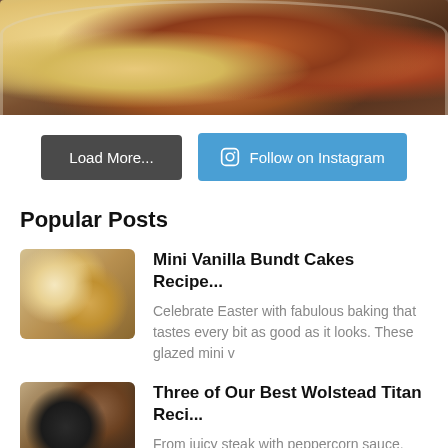[Figure (photo): Food photo showing a bowl with mashed potatoes, braised meat, carrots, mushrooms and other vegetables, with a spoon visible at top]
Load More...
Follow on Instagram
Popular Posts
[Figure (photo): Thumbnail of mini vanilla bundt cakes on a cooling rack]
Mini Vanilla Bundt Cakes Recipe...
Celebrate Easter with fabulous baking that tastes every bit as good as it looks. These glazed mini v
[Figure (photo): Thumbnail showing a dark pan with steak ingredients and seasonings on a wooden board]
Three of Our Best Wolstead Titan Reci...
From juicy steak with peppercorn sauce, perfect for a date night at home, to flavoursome chicken cac